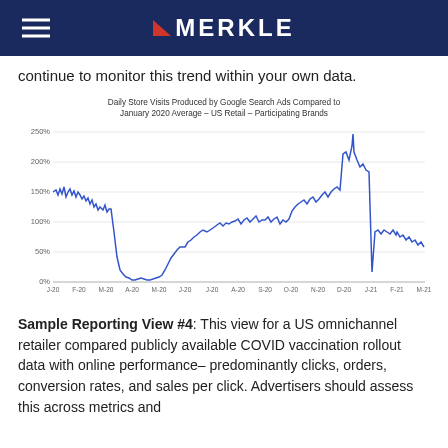MERKLE
continue to monitor this trend within your own data.
[Figure (continuous-plot): Line chart showing daily store visits produced by Google Search Ads compared to January 2020 average for US Retail participating brands. Starts around 140% in Jan 2020, drops sharply to near 0% around Apr 2020, gradually recovers through mid-2020, reaches a spike of ~250% in Dec 2020, then declines to around 80-90% by Mar 2021.]
Sample Reporting View #4: This view for a US omnichannel retailer compared publicly available COVID vaccination rollout data with online performance– predominantly clicks, orders, conversion rates, and sales per click. Advertisers should assess this across metrics and